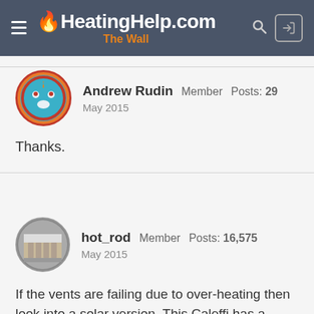HeatingHelp.com The Wall
Andrew Rudin  Member  Posts: 29  May 2015
Thanks.
hot_rod  Member  Posts: 16,575  May 2015
If the vents are failing due to over-heating then look into a solar version. This Caleffi has a 360F operating